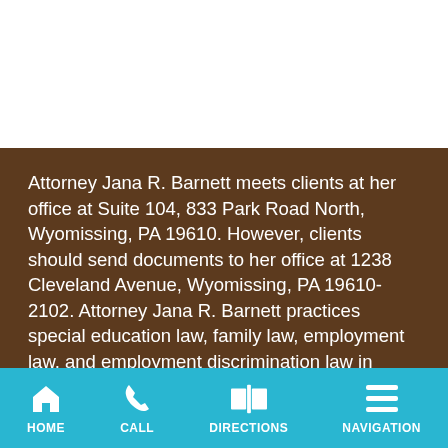Attorney Jana R. Barnett meets clients at her office at Suite 104, 833 Park Road North, Wyomissing, PA 19610. However, clients should send documents to her office at 1238 Cleveland Avenue, Wyomissing, PA 19610-2102. Attorney Jana R. Barnett practices special education law, family law, employment law, and employment discrimination law in Reading, Wyomissing and throughout Berks County, the United States District Court for the Eastern District of Pennsylvania and the United States District
HOME | CALL | DIRECTIONS | NAVIGATION